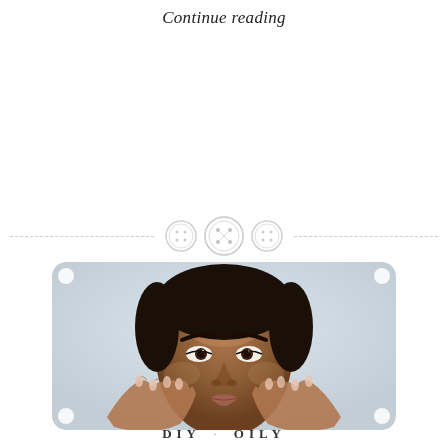Continue reading
[Figure (illustration): Decorative section divider with three button icons centered on a dashed horizontal line]
[Figure (photo): Close-up beauty portrait of a young Black woman with clear skin, touching her face with both hands, against a light background]
DIY · OILY